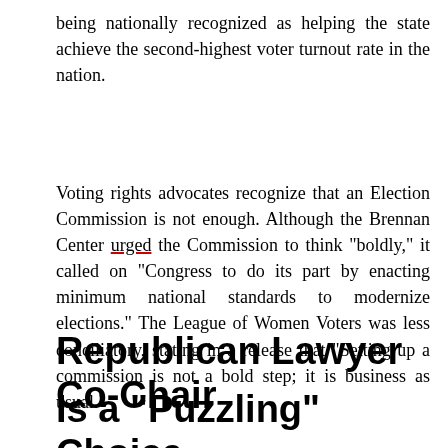being nationally recognized as helping the state achieve the second-highest voter turnout rate in the nation.
Voting rights advocates recognize that an Election Commission is not enough. Although the Brennan Center urged the Commission to think "boldly," it called on "Congress to do its part by enacting minimum national standards to modernize elections." The League of Women Voters was less conciliatory, stating in a release that "Setting up a commission is not a bold step; it is business as usual."
Republican Lawyer Co-Chair Is a "Puzzling" Choice